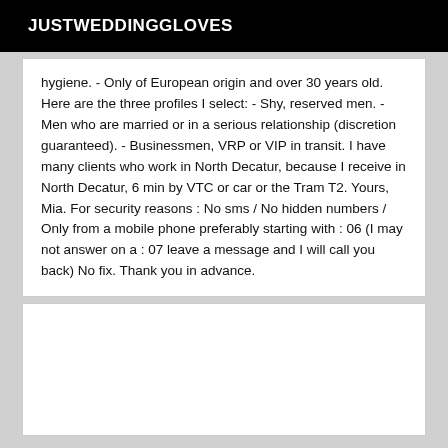JUSTWEDDINGGLOVES
hygiene. - Only of European origin and over 30 years old. Here are the three profiles I select: - Shy, reserved men. - Men who are married or in a serious relationship (discretion guaranteed). - Businessmen, VRP or VIP in transit. I have many clients who work in North Decatur, because I receive in North Decatur, 6 min by VTC or car or the Tram T2. Yours, Mia. For security reasons : No sms / No hidden numbers / Only from a mobile phone preferably starting with : 06 (I may not answer on a : 07 leave a message and I will call you back) No fix. Thank you in advance.